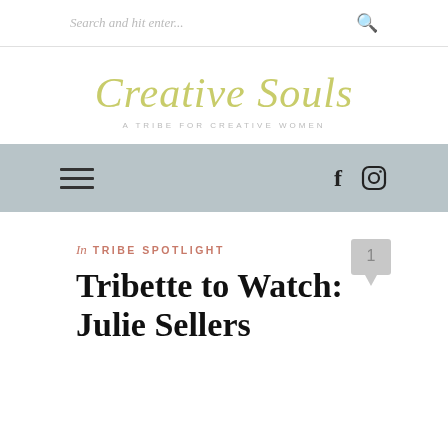Search and hit enter...
Creative Souls
A TRIBE FOR CREATIVE WOMEN
[Figure (screenshot): Navigation bar with hamburger menu icon on the left and Facebook and Instagram icons on the right, on a muted blue-gray background]
In TRIBE SPOTLIGHT
Tribette to Watch: Julie Sellers